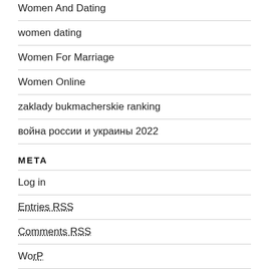Women And Dating
women dating
Women For Marriage
Women Online
zaklady bukmacherskie ranking
война россии и украины 2022
META
Log in
Entries RSS
Comments RSS
Wo...P